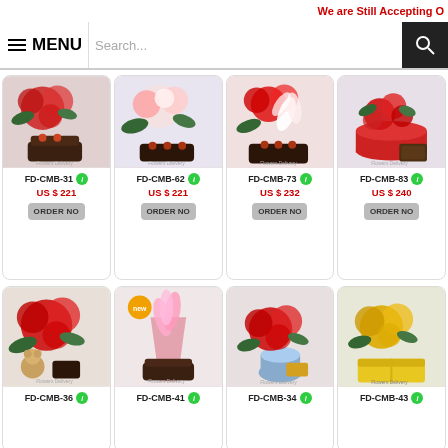We are Still Accepting O
[Figure (screenshot): Navigation bar with MENU button and search input]
[Figure (photo): FD-CMB-31 flower bouquet with roses and chocolate cake]
FD-CMB-31
US $ 221
ORDER NO
[Figure (photo): FD-CMB-62 flower bouquet with roses]
FD-CMB-62
US $ 221
ORDER NO
[Figure (photo): FD-CMB-73 red and white flower arrangement]
FD-CMB-73
US $ 232
ORDER NO
[Figure (photo): FD-CMB-83 red rose arrangement in hat box]
FD-CMB-83
US $ 240
ORDER NO
[Figure (photo): FD-CMB-36 red rose bouquet with teddy bear]
FD-CMB-36
[Figure (photo): FD-CMB-41 lily bouquet with new badge]
FD-CMB-41
[Figure (photo): FD-CMB-34 red rose arrangement in vase]
FD-CMB-34
[Figure (photo): FD-CMB-43 yellow rose arrangement]
FD-CMB-43